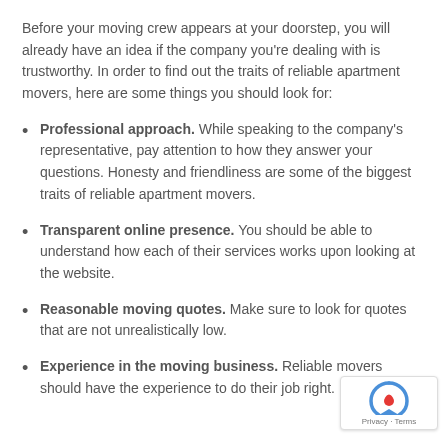Before your moving crew appears at your doorstep, you will already have an idea if the company you're dealing with is trustworthy. In order to find out the traits of reliable apartment movers, here are some things you should look for:
Professional approach. While speaking to the company's representative, pay attention to how they answer your questions. Honesty and friendliness are some of the biggest traits of reliable apartment movers.
Transparent online presence. You should be able to understand how each of their services works upon looking at the website.
Reasonable moving quotes. Make sure to look for quotes that are not unrealistically low.
Experience in the moving business. Reliable movers should have the experience to do their job right.